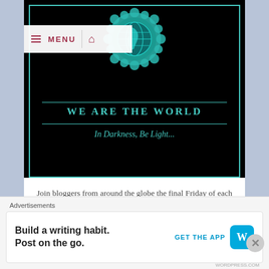[Figure (screenshot): Website banner for 'We Are The World' blog initiative showing a black background with teal globe badge, teal bordered frame, title 'WE ARE THE WORLD' and subtitle 'In Darkness, Be Light...' with a menu bar overlay at top left]
Join bloggers from around the globe the final Friday of each month as we post positive news articles in hopes of focusing ourselves and others on the good in humanity.
Advertisements
Build a writing habit. Post on the go.
GET THE APP